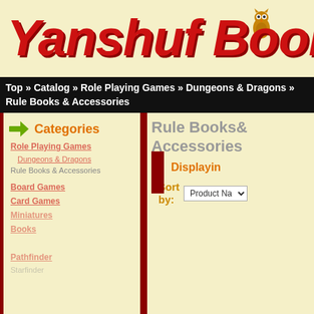[Figure (logo): Yanshuf Books and more logo with red italic text and an owl illustration]
Top » Catalog » Role Playing Games » Dungeons & Dragons » Rule Books & Accessories
Categories
Rule Books & Accessories
Displaying
Sort by: Product Na...